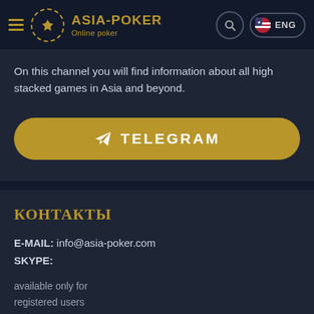ASIA-POKER Online poker
On this channel you will find information about all high stacked games in Asia and beyond.
[Figure (other): Gold Telegram button with paper airplane icon and text TELEGRAM]
КОНТАКТЫ
E-MAIL: info@asia-poker.com
SKYPE:
available only for registered users